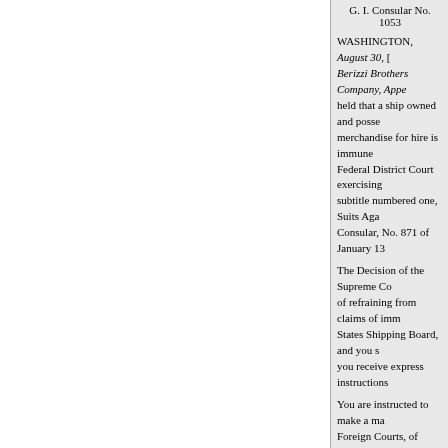G. I. Consular No. 1053
WASHINGTON, August 30, [year]. Berizzi Brothers Company, Appe[llant] held that a ship owned and posse[ssed] merchandise for hire is immune [from] Federal District Court exercising [jurisdiction] subtitle numbered one, Suits Aga[inst] Consular, No. 871 of January 13[,...]
The Decision of the Supreme Co[urt] of refraining from claims of imm[unity] States Shipping Board, and you s[hould] you receive express instructions [...]
You are instructed to make a ma[rginal note] Foreign Courts, of General Instr[uctions to...]
* For previous corresponden[ce] countries, see Foreign Relation[s...]
271 U. S. 562.
Foreign Relations, 1923, v[ol...]
« iepriekšējā